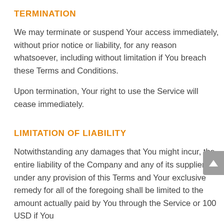TERMINATION
We may terminate or suspend Your access immediately, without prior notice or liability, for any reason whatsoever, including without limitation if You breach these Terms and Conditions.
Upon termination, Your right to use the Service will cease immediately.
LIMITATION OF LIABILITY
Notwithstanding any damages that You might incur, the entire liability of the Company and any of its suppliers under any provision of this Terms and Your exclusive remedy for all of the foregoing shall be limited to the amount actually paid by You through the Service or 100 USD if You